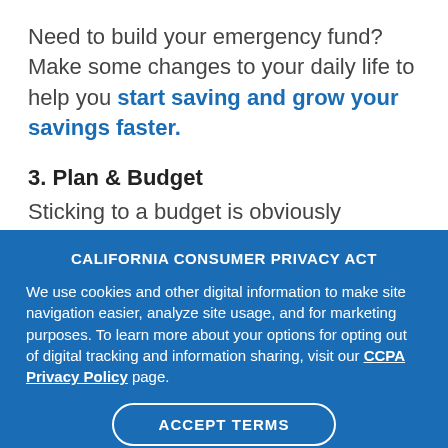Need to build your emergency fund? Make some changes to your daily life to help you start saving and grow your savings faster.
3. Plan & Budget
Sticking to a budget is obviously important when times are tough, but it's also a smart idea when things are going well. Having a solid
CALIFORNIA CONSUMER PRIVACY ACT
We use cookies and other digital information to make site navigation easier, analyze site usage, and for marketing purposes. To learn more about your options for opting out of digital tracking and information sharing, visit our CCPA Privacy Policy page.
ACCEPT TERMS